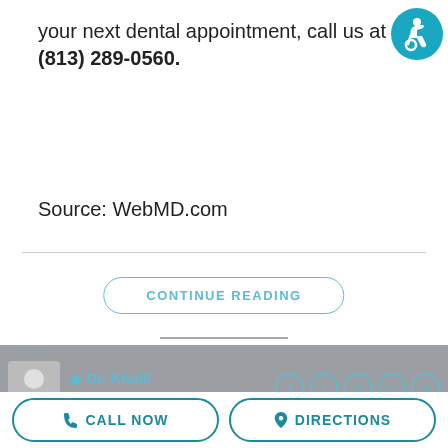your next dental appointment, call us at (813) 289-0560.
Source: WebMD.com
[Figure (other): Accessibility icon (wheelchair user) in teal circle in top right corner]
CONTINUE READING
Dr. Khalil
29/Aug/2022
CALL NOW
DIRECTIONS